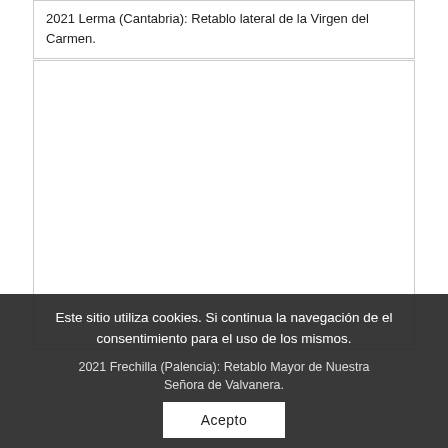2021 Lerma (Cantabria): Retablo lateral de la Virgen del Carmen.
[Figure (photo): Empty white image box with border, likely a photograph placeholder for a retablo or religious artwork.]
Este sitio utiliza cookies. Si continua la navegación de el consentimiento para el uso de los mismos.
2021 Frechilla (Palencia): Retablo Mayor de Nuestra Señora de Valvanera.
Acepto